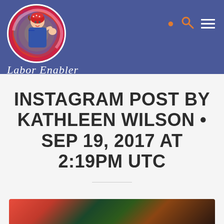Labor Enabler Birth Doula
INSTAGRAM POST BY KATHLEEN WILSON • SEP 19, 2017 AT 2:19PM UTC
[Figure (photo): Bottom portion of a photo partially visible at the bottom of the page, showing colorful blurred floral or fabric imagery in red and green tones]